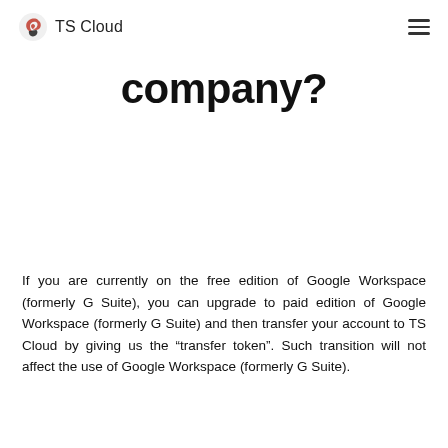TS Cloud
company?
If you are currently on the free edition of Google Workspace (formerly G Suite), you can upgrade to paid edition of Google Workspace (formerly G Suite) and then transfer your account to TS Cloud by giving us the “transfer token”. Such transition will not affect the use of Google Workspace (formerly G Suite).